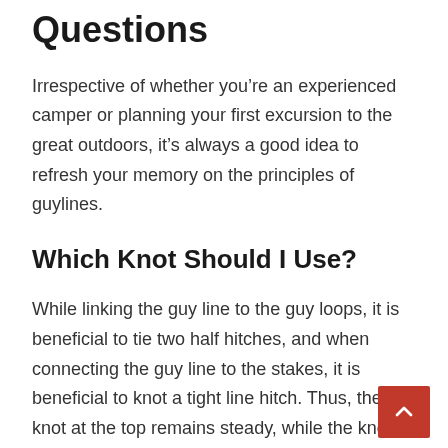Questions
Irrespective of whether you’re an experienced camper or planning your first excursion to the great outdoors, it’s always a good idea to refresh your memory on the principles of guylines.
Which Knot Should I Use?
While linking the guy line to the guy loops, it is beneficial to tie two half hitches, and when connecting the guy line to the stakes, it is beneficial to knot a tight line hitch. Thus, the knot at the top remains steady, while the knot at each stake may be adjusted without loosing its hold on the ground.